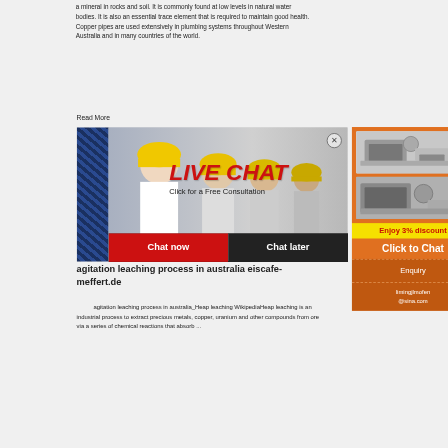a mineral in rocks and soil. It is commonly found at low levels in natural water bodies. It is also an essential trace element that is required to maintain good health. Copper pipes are used extensively in plumbing systems throughout Western Australia and in many countries of the world.
Read More
[Figure (screenshot): Live chat popup overlay showing workers in yellow hard hats with LIVE CHAT text in red italic and 'Click for a Free Consultation' subtitle. Red 'Chat now' and dark 'Chat later' buttons at bottom.]
[Figure (screenshot): Orange sidebar advertisement showing mining/crushing machinery images, 'Enjoy 3% discount' bar in yellow, 'Click to Chat' button, Enquiry section, and limingjlmofen@sina.com contact.]
agitation leaching process in australia eiscafe-meffert.de
agitation leaching process in australia_Heap leaching WikipediaHeap leaching is an industrial process to extract precious metals, copper, uranium and other compounds from ore via a series of chemical reactions that absorb ...